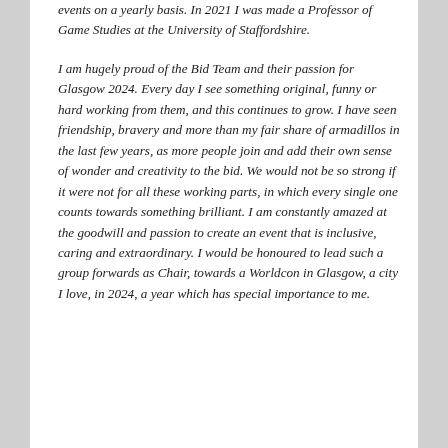events on a yearly basis. In 2021 I was made a Professor of Game Studies at the University of Staffordshire.
I am hugely proud of the Bid Team and their passion for Glasgow 2024. Every day I see something original, funny or hard working from them, and this continues to grow. I have seen friendship, bravery and more than my fair share of armadillos in the last few years, as more people join and add their own sense of wonder and creativity to the bid. We would not be so strong if it were not for all these working parts, in which every single one counts towards something brilliant. I am constantly amazed at the goodwill and passion to create an event that is inclusive, caring and extraordinary. I would be honoured to lead such a group forwards as Chair, towards a Worldcon in Glasgow, a city I love, in 2024, a year which has special importance to me.